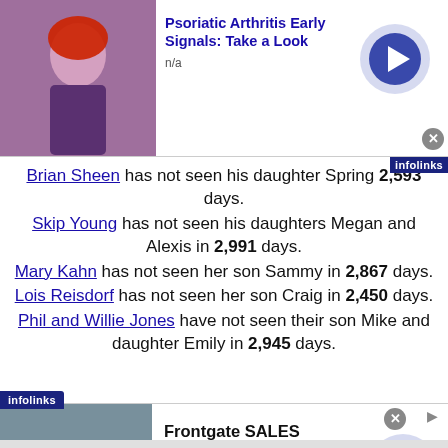[Figure (screenshot): Advertisement banner for Psoriatic Arthritis Early Signals with image of person, title text, n/a label, arrow button, and close button]
Brian Sheen has not seen his daughter Spring [cut off] 2,593 days.
Skip Young has not seen his daughters Megan and Alexis in 2,991 days.
Mary Kahn has not seen her son Sammy in 2,867 days.
Lois Reisdorf has not seen her son Craig in 2,450 days.
Phil and Willie Jones have not seen their son Mike and daughter Emily in 2,945 days.
[Figure (screenshot): Advertisement banner for Frontgate SALES with outdoor furniture image, up to 50% off, frontgate.com, arrow button, and close button]